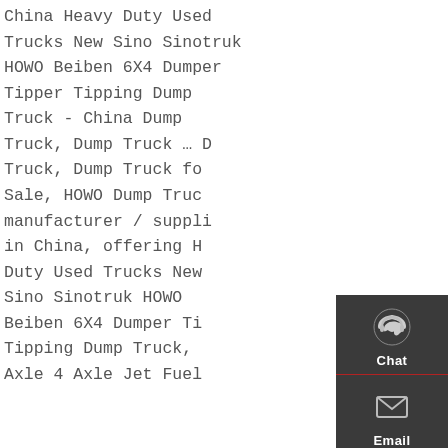China Heavy Duty Used Trucks New Sino Sinotruk HOWO Beiben 6X4 Dumper Tipper Tipping Dump Truck - China Dump Truck, Dump Truck ... Dump Truck, Dump Truck for Sale, HOWO Dump Truck manufacturer / supplier in China, offering Heavy Duty Used Trucks New Sino Sinotruk HOWO Beiben 6X4 Dumper Tipper Tipping Dump Truck, 3 Axle 4 Axle Jet Fuel
[Figure (other): Right-side floating navigation panel with dark gray background containing Chat (headset icon), Email (envelope icon), Contact (speech bubble icon), and Top (arrow up icon) buttons, separated by red divider lines.]